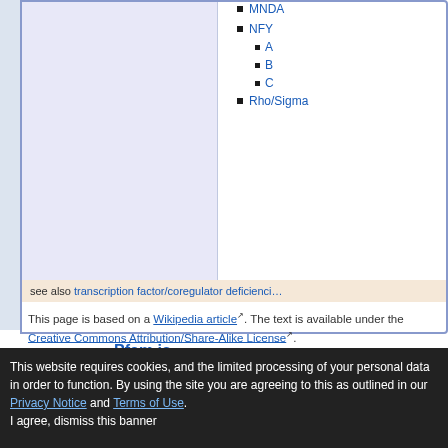MNDA
NFY
A
B
C
Rho/Sigma
see also transcription factor/coregulator deficienci...
This page is based on a Wikipedia article. The text is available under the Creative Commons Attribution/Share-Alike License.
[Figure (logo): ELIXIR logo — circular badge with 'elixir' text and orange DNA helix graphic]
Pfam is part of the ELIXIR infrastructure
Pfam is an Elixir service Read more
Comments or questions on the site? Send a mail to pfam-help@ebi.ac.uk.
European Molecular Biology Laboratory
This website requires cookies, and the limited processing of your personal data in order to function. By using the site you are agreeing to this as outlined in our Privacy Notice and Terms of Use.
I agree, dismiss this banner